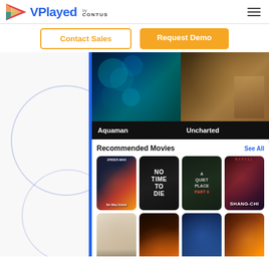[Figure (screenshot): VPlayed by CONTUS logo with triangular play button icon in red, green, yellow and the text VPlayed in blue, with 'by CONTUS' beside it]
Contact Sales
Request Demo
[Figure (screenshot): Mobile app screenshot showing a streaming video platform with featured movies Aquaman and Uncharted at top, followed by Recommended Movies section with See All link, showing movie posters: Spider-Man, No Time To Die, A Quiet Place Part II, Shang-Chi in first row and four more movies in second row]